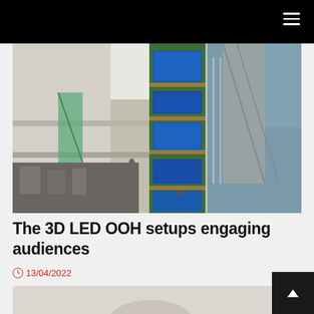Navigation bar with hamburger menu
[Figure (photo): Interior of a multi-story shopping mall with escalators and a tall green column display covered in blue LED screens showing digital content. Multiple floors visible with shoppers.]
The 3D LED OOH setups engaging audiences
13/04/2022
[Figure (photo): Partial view of a second photo at the bottom of the page, appears to show a light-colored scene, partially cut off.]